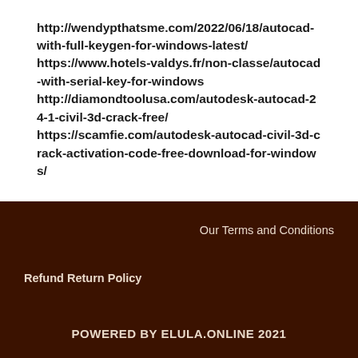http://wendypthatsme.com/2022/06/18/autocad-with-full-keygen-for-windows-latest/ https://www.hotels-valdys.fr/non-classe/autocad-with-serial-key-for-windows http://diamondtoolusa.com/autodesk-autocad-24-1-civil-3d-crack-free/ https://scamfie.com/autodesk-autocad-civil-3d-crack-activation-code-free-download-for-windows/
Our Terms and Conditions
Refund Return Policy
POWERED BY ELULA.ONLINE 2021